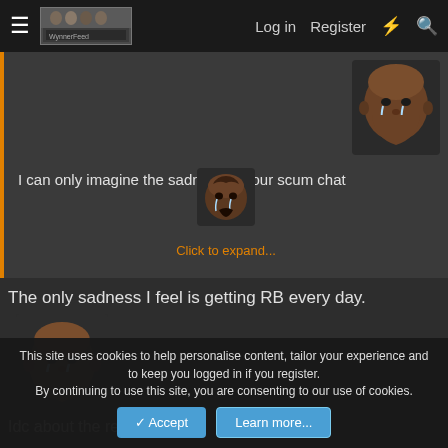Log in  Register
[Figure (photo): Crying Jordan meme face, top-right of post]
I can only imagine the sadness in your scum chat
[Figure (photo): Crying face meme, smaller, center of post]
Click to expand...
The only sadness I feel is getting RB every day.
[Figure (photo): Crying Jordan meme face, left side below second post]
Idc about the rest
This site uses cookies to help personalise content, tailor your experience and to keep you logged in if you register.
By continuing to use this site, you are consenting to our use of cookies.
Accept   Learn more...